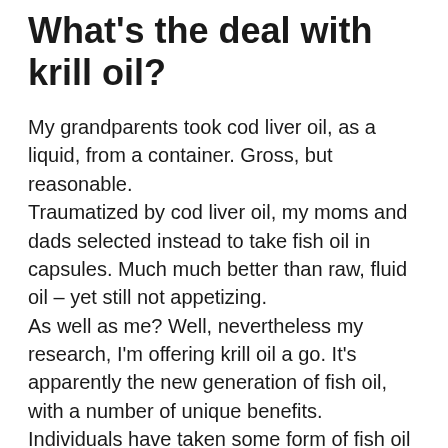What's the deal with krill oil?
My grandparents took cod liver oil, as a liquid, from a container. Gross, but reasonable.
Traumatized by cod liver oil, my moms and dads selected instead to take fish oil in capsules. Much much better than raw, fluid oil – yet still not appetizing.
As well as me? Well, nevertheless my research, I'm offering krill oil a go. It's apparently the new generation of fish oil, with a number of unique benefits.
Individuals have taken some form of fish oil for ages. Seafood is considered to be